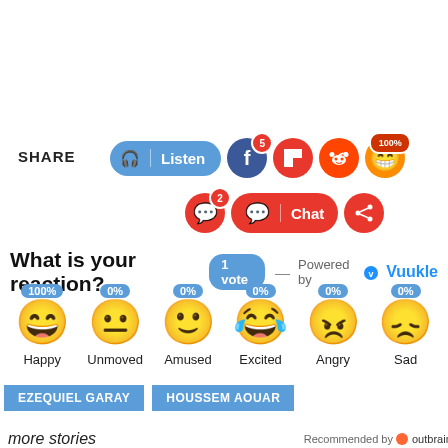[Figure (screenshot): Share buttons row with Listen, Facebook (5), Flipboard, Reddit, emoji (100%), and chat bubble (2), Chat button, share icon]
What is your reaction? 1 vote — Powered by Vuukle
[Figure (infographic): Reaction emoji row: Happy 100%, Unmoved 0%, Amused 0%, Excited 0%, Angry 0%, Sad 0%]
EZEQUIEL GARAY
HOUSSEM AOUAR
more stories
Recommended by